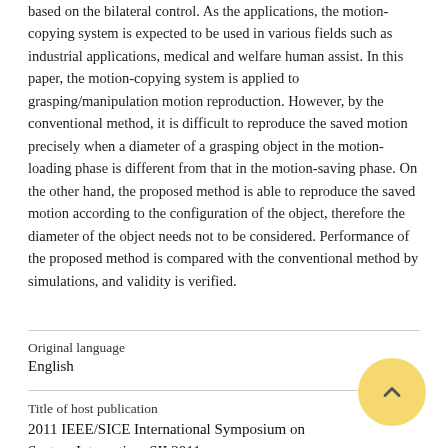based on the bilateral control. As the applications, the motion-copying system is expected to be used in various fields such as industrial applications, medical and welfare human assist. In this paper, the motion-copying system is applied to grasping/manipulation motion reproduction. However, by the conventional method, it is difficult to reproduce the saved motion precisely when a diameter of a grasping object in the motion-loading phase is different from that in the motion-saving phase. On the other hand, the proposed method is able to reproduce the saved motion according to the configuration of the object, therefore the diameter of the object needs not to be considered. Performance of the proposed method is compared with the conventional method by simulations, and validity is verified.
| Field | Value |
| --- | --- |
| Original language | English |
| Title of host publication | 2011 IEEE/SICE International Symposium on System Integration, SII 2011 |